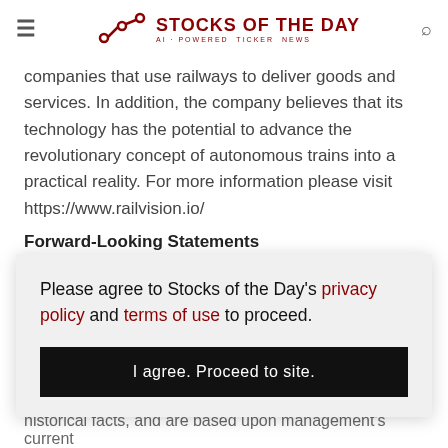STOCKS OF THE DAY — AI-POWERED TICKER NEWS
companies that use railways to deliver goods and services. In addition, the company believes that its technology has the potential to advance the revolutionary concept of autonomous trains into a practical reality. For more information please visit https://www.railvision.io/
Forward-Looking Statements
This press release contains "forward-looking statements" within
Please agree to Stocks of the Day's privacy policy and terms of use to proceed.
I agree. Proceed to site.
historical facts, and are based upon management's current